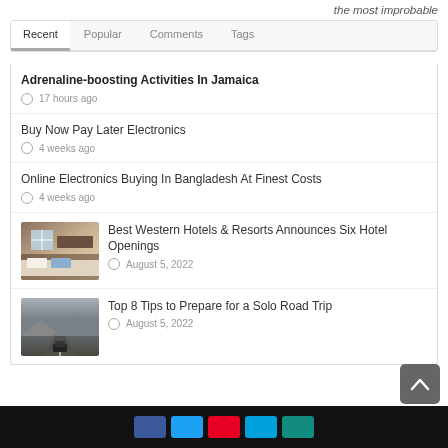the most improbable
Recent | Popular | Comments | Tags
Adrenaline-boosting Activities In Jamaica
17 hours ago
Buy Now Pay Later Electronics
4 weeks ago
Online Electronics Buying In Bangladesh At Finest Costs
4 weeks ago
[Figure (photo): Hotel room with bed and window]
Best Western Hotels & Resorts Announces Six Hotel Openings
August 5, 2022
[Figure (photo): Car on a desert road]
Top 8 Tips to Prepare for a Solo Road Trip
August 5, 2022